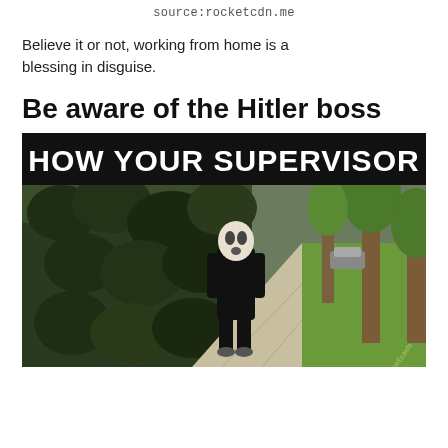source:rocketcdn.me
Believe it or not, working from home is a blessing in disguise.
Be aware of the Hitler boss
[Figure (photo): Meme image showing a person in a black outfit and white mask (Michael Myers) walking on a sidewalk next to a hedge, with text overlay reading 'HOW YOUR SUPERVISOR']